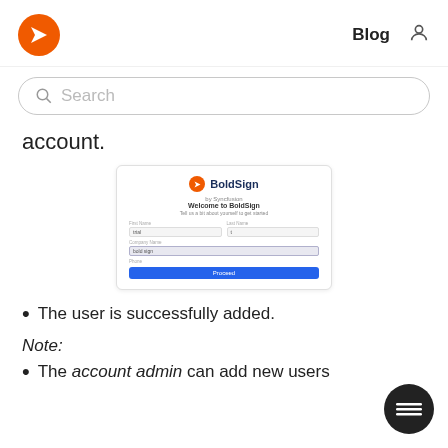BoldSign Blog
[Figure (screenshot): Search bar with magnifying glass icon and placeholder text 'Search']
account.
[Figure (screenshot): BoldSign registration form screenshot showing 'Welcome to BoldSign' with fields for First Name, Last Name, Company Name, Phone, and a Proceed button]
The user is successfully added.
Note:
The account admin can add new users